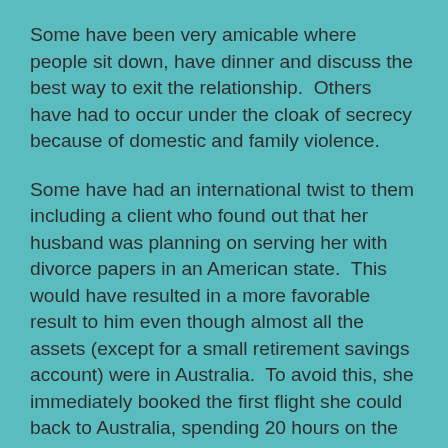Some have been very amicable where people sit down, have dinner and discuss the best way to exit the relationship.  Others have had to occur under the cloak of secrecy because of domestic and family violence.
Some have had an international twist to them including a client who found out that her husband was planning on serving her with divorce papers in an American state.  This would have resulted in a more favorable result to him even though almost all the assets (except for a small retirement savings account) were in Australia.  To avoid this, she immediately booked the first flight she could back to Australia, spending 20 hours on the airside part of the airport where process servers were not allowed to attempt to serve her.